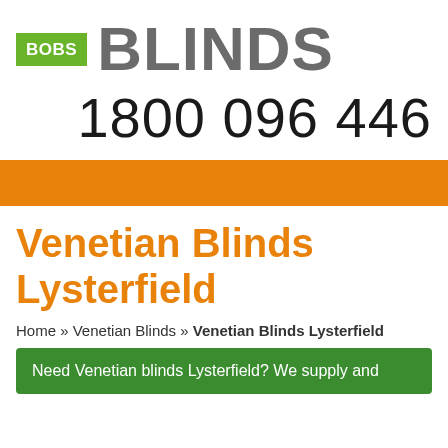[Figure (logo): Bobs Blinds logo: green badge with white BOBS text next to large grey BLINDS text]
1800 096 446
Venetian Blinds Lysterfield
Home » Venetian Blinds » Venetian Blinds Lysterfield
Need Venetian blinds Lysterfield? We supply and